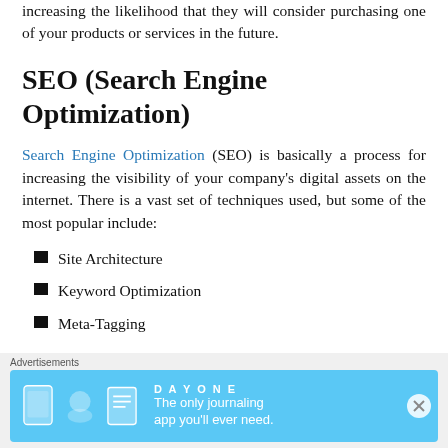increasing the likelihood that they will consider purchasing one of your products or services in the future.
SEO (Search Engine Optimization)
Search Engine Optimization (SEO) is basically a process for increasing the visibility of your company's digital assets on the internet. There is a vast set of techniques used, but some of the most popular include:
Site Architecture
Keyword Optimization
Meta-Tagging
[Figure (other): Advertisement banner for Day One journaling app with text 'The only journaling app you'll ever need.']